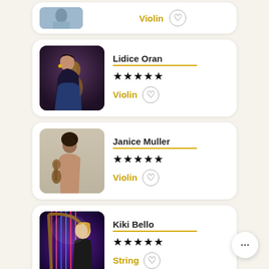[Figure (screenshot): Partial musician card at top showing a violin player photo with Violin label and heart icon]
[Figure (screenshot): Musician card for Lidice Oran showing a woman with a cello/violin in blue dress, 4.5 star rating, Violin instrument label and heart icon]
[Figure (screenshot): Musician card for Janice Muller showing a black and white photo of a woman with a violin, 4.5 star rating, Violin instrument label and heart icon]
[Figure (screenshot): Musician card for Kiki Bello showing a woman posing with a harp in colorful lighting, 4.5 star rating, String instrument label and heart icon]
[Figure (other): Chat/message button in bottom right corner]